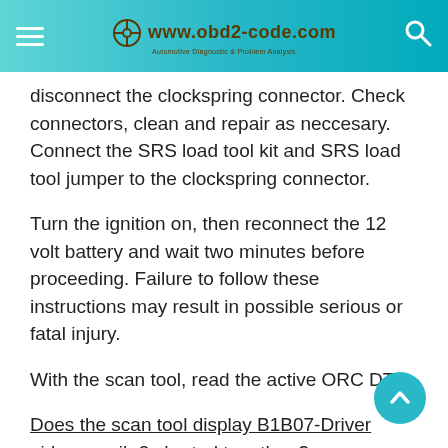www.obd2-code.com
disconnect the clockspring connector. Check connectors, clean and repair as neccesary. Connect the SRS load tool kit and SRS load tool jumper to the clockspring connector.
Turn the ignition on, then reconnect the 12 volt battery and wait two minutes before proceeding. Failure to follow these instructions may result in possible serious or fatal injury.
With the scan tool, read the active ORC DTC.
Does the scan tool display B1B07-Driver airbag squib 2 shorted together ?
Yes, go to step 4.